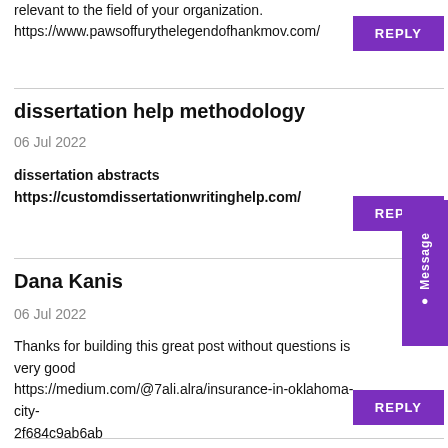relevant to the field of your organization.
https://www.pawsoffurythelegendofhankmov.com/
REPLY
dissertation help methodology
06 Jul 2022
dissertation abstracts
https://customdissertationwritinghelp.com/
REPLY
Dana Kanis
06 Jul 2022
Thanks for building this great post without questions is very good
https://medium.com/@7ali.alra/insurance-in-oklahoma-city-2f684c9ab6ab
REPLY